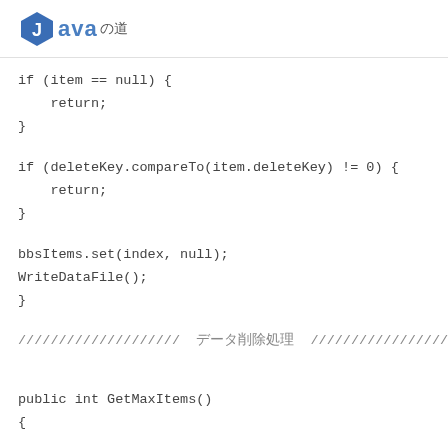Javaの道
if (item == null) {
    return;
}

if (deleteKey.compareTo(item.deleteKey) != 0) {
    return;
}

bbsItems.set(index, null);
WriteDataFile();
}

//////////////////// データ削除処理 ////////////////////

public int GetMaxItems()
{